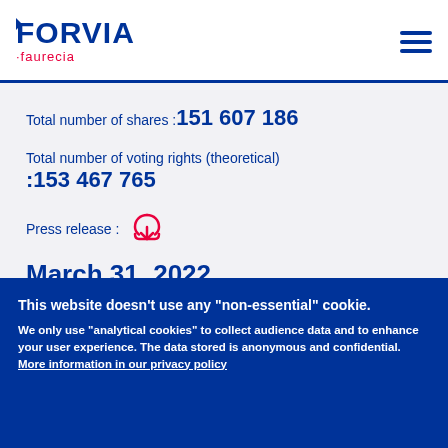[Figure (logo): FORVIA Faurecia logo with hamburger menu icon]
Total number of shares :151 607 186
Total number of voting rights (theoretical) :153 467 765
Press release :
March 31, 2022
Total number of shares :151 607 186
This website doesn't use any "non-essential" cookie.
We only use "analytical cookies" to collect audience data and to enhance your user experience. The data stored is anonymous and confidential.  More information in our privacy policy